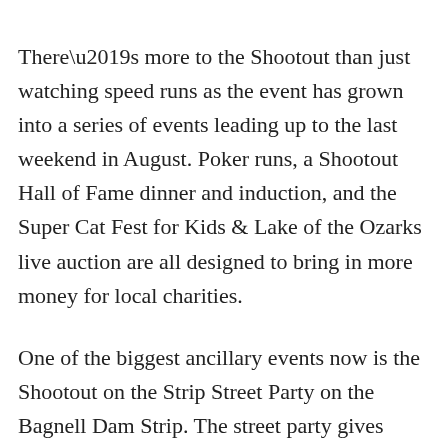There’s more to the Shootout than just watching speed runs as the event has grown into a series of events leading up to the last weekend in August. Poker runs, a Shootout Hall of Fame dinner and induction, and the Super Cat Fest for Kids & Lake of the Ozarks live auction are all designed to bring in more money for local charities.
One of the biggest ancillary events now is the Shootout on the Strip Street Party on the Bagnell Dam Strip. The street party gives locals, who can’t make it to the water, a chance to check out the hardware. It also gives businesses along the strip, which is more than 20 miles from the Shootout course, lots of